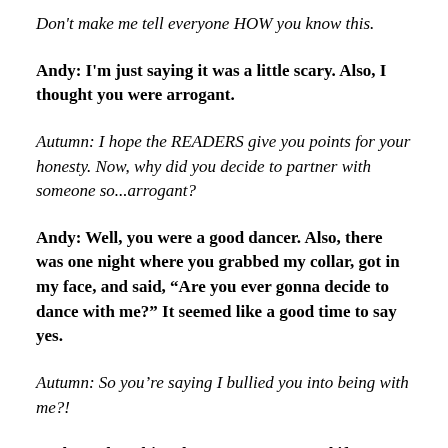Don't make me tell everyone HOW you know this.
Andy: I'm just saying it was a little scary. Also, I thought you were arrogant.
Autumn: I hope the READERS give you points for your honesty. Now, why did you decide to partner with someone so...arrogant?
Andy: Well, you were a good dancer. Also, there was one night where you grabbed my collar, got in my face, and said, “Are you ever gonna decide to dance with me?” It seemed like a good time to say yes.
Autumn: So you’re saying I bullied you into being with me?!
Andy: Nah. I’d just have never answered if I